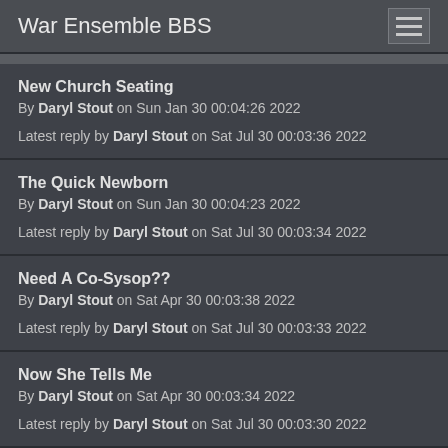War Ensemble BBS
New Church Seating
By Daryl Stout on Sun Jan 30 00:04:26 2022
Latest reply by Daryl Stout on Sat Jul 30 00:03:36 2022
The Quick Newborn
By Daryl Stout on Sun Jan 30 00:04:23 2022
Latest reply by Daryl Stout on Sat Jul 30 00:03:34 2022
Need A Co-Sysop??
By Daryl Stout on Sat Apr 30 00:03:38 2022
Latest reply by Daryl Stout on Sat Jul 30 00:03:33 2022
Now She Tells Me
By Daryl Stout on Sat Apr 30 00:03:34 2022
Latest reply by Daryl Stout on Sat Jul 30 00:03:30 2022